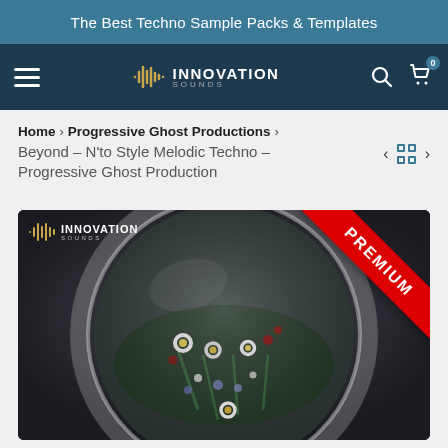The Best Techno Sample Packs & Templates
[Figure (logo): Innovation Sounds logo with waveform icon in navigation bar]
Home > Progressive Ghost Productions > Beyond - N'to Style Melodic Techno - Progressive Ghost Production
[Figure (photo): Astronaut helmet filled with flowers against dark background, with PREMIUM ribbon in top right corner and Innovation Sounds logo in top left]